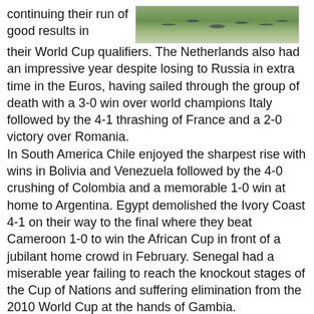[Figure (photo): A photo showing people (likely football players) on a green pitch, viewed from above or at an angle.]
continuing their run of good results in their World Cup qualifiers. The Netherlands also had an impressive year despite losing to Russia in extra time in the Euros, having sailed through the group of death with a 3-0 win over world champions Italy followed by the 4-1 thrashing of France and a 2-0 victory over Romania. In South America Chile enjoyed the sharpest rise with wins in Bolivia and Venezuela followed by the 4-0 crushing of Colombia and a memorable 1-0 win at home to Argentina. Egypt demolished the Ivory Coast 4-1 on their way to the final where they beat Cameroon 1-0 to win the African Cup in front of a jubilant home crowd in February. Senegal had a miserable year failing to reach the knockout stages of the Cup of Nations and suffering elimination from the 2010 World Cup at the hands of Gambia. Grenada were the most improved country in the world, capping their year by reaching the final of the Caribbean Cup. The biggest surprises of the year were the 3-0 triumph of Lithuania in Romania and 2-1 wins for Bermuda and Liechtenstein away to Trinidad and Tobago, and Switzerland respectively.